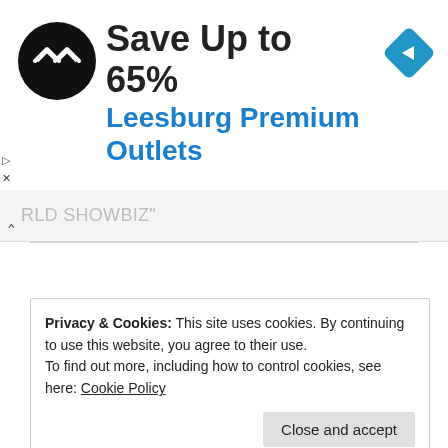[Figure (screenshot): Advertisement banner showing a black circular logo with double-arrow symbol, text 'Save Up to 65%' in bold black and 'Leesburg Premium Outlets' in blue, with a blue diamond navigation icon on the right]
RLD SHOWBIZ"
Privacy & Cookies: This site uses cookies. By continuing to use this website, you agree to their use.
To find out more, including how to control cookies, see here: Cookie Policy